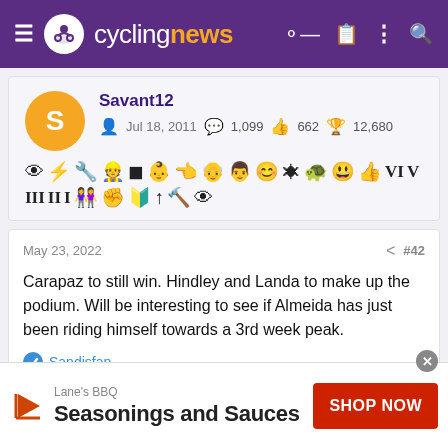cyclingnews
[Figure (screenshot): User profile card for Savant12 with avatar S (orange circle), username, join date Jul 18 2011, 1,099 messages, 662 likes, 12,680 points, and badge icons]
May 23, 2022  #42
Carapaz to still win. Hindley and Landa to make up the podium. Will be interesting to see if Almeida has just been riding himself towards a 3rd week peak.
Sandisfan
[Figure (infographic): Advertisement banner: Lane's BBQ - Seasonings and Sauces - SHOP NOW button]